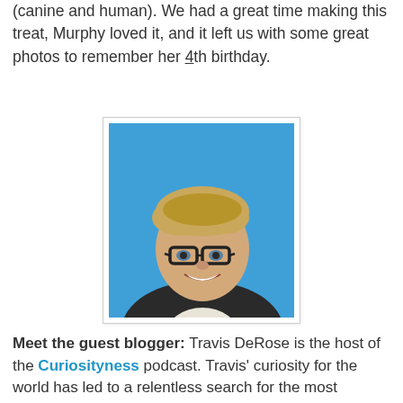(canine and human). We had a great time making this treat, Murphy loved it, and it left us with some great photos to remember her 4th birthday.
[Figure (photo): Headshot of a smiling young man with blonde hair and glasses, wearing a dark jacket, against a bright blue background.]
Meet the guest blogger: Travis DeRose is the host of the Curiosityness podcast. Travis' curiosity for the world has led to a relentless search for the most interesting people and topics in the world! He also